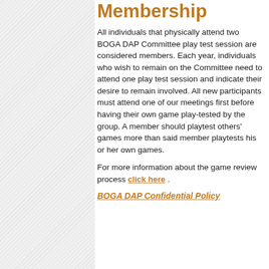Membership
All individuals that physically attend two BOGA DAP Committee play test session are considered members. Each year, individuals who wish to remain on the Committee need to attend one play test session and indicate their desire to remain involved. All new participants must attend one of our meetings first before having their own game play-tested by the group. A member should playtest others' games more than said member playtests his or her own games.
For more information about the game review process click here .
BOGA DAP Confidential Policy